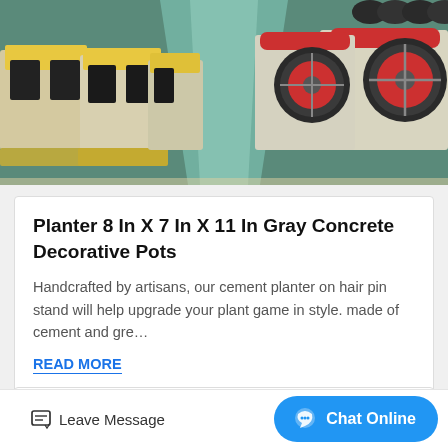[Figure (photo): Industrial factory floor with yellow and white machinery (impact crushers and jaw crushers) lined up in rows on a green-painted floor.]
Planter 8 In X 7 In X 11 In Gray Concrete Decorative Pots
Handcrafted by artisans, our cement planter on hair pin stand will help upgrade your plant game in style. made of cement and gre…
READ MORE
Mobile Concrete Plants Meka Concrete Plants
Being used at almost all construction projects, concrete is now produced at concrete plants with m
Leave Message
Chat Online